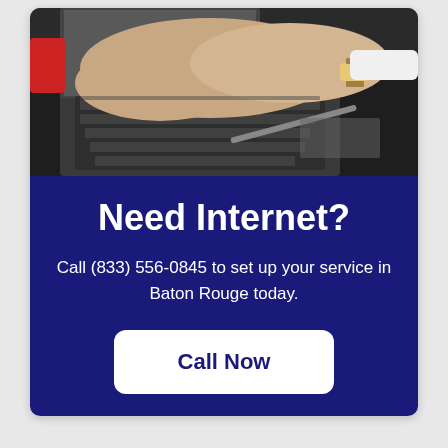[Figure (photo): Person typing on a laptop keyboard at a dark desk, with a gold watch visible on their wrist, phone and papers visible in the background]
Need Internet?
Call (833) 556-0845 to set up your service in Baton Rouge today.
Call Now